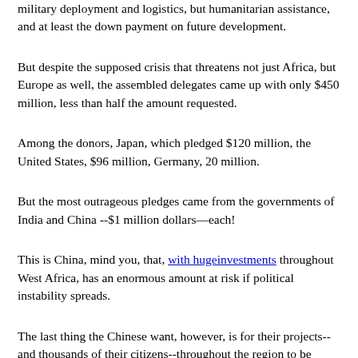military deployment and logistics, but humanitarian assistance, and at least the down payment on future development.
But despite the supposed crisis that threatens not just Africa, but Europe as well, the assembled delegates came up with only $450 million, less than half the amount requested.
Among the donors, Japan, which pledged $120 million, the United States, $96 million, Germany, 20 million.
But the most outrageous pledges came from the governments of India and China --$1 million dollars—each!
This is China, mind you, that, with hugeinvestments throughout West Africa, has an enormous amount at risk if political instability spreads.
The last thing the Chinese want, however, is for their projects--and thousands of their citizens--throughout the region to be damaged as part of a looming display...